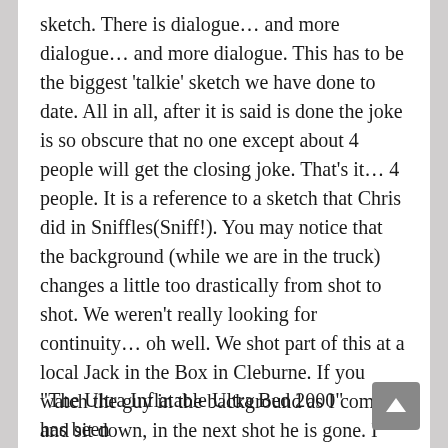sketch. There is dialogue… and more dialogue… and more dialogue. This has to be the biggest 'talkie' sketch we have done to date. All in all, after it is said is done the joke is so obscure that no one except about 4 people will get the closing joke. That's it… 4 people. It is a reference to a sketch that Chris did in Sniffles(Sniff!). You may notice that the background (while we are in the truck) changes a little too drastically from shot to shot. We weren't really looking for continuity… oh well. We shot part of this at a local Jack in the Box in Cleburne. If you watch the guy in the background as I come and sit down, in the next shot he is gone. I think he figured out what was going on and hot footed it out.
"The Ultra Inflatable Ultra Bed 2000" has been